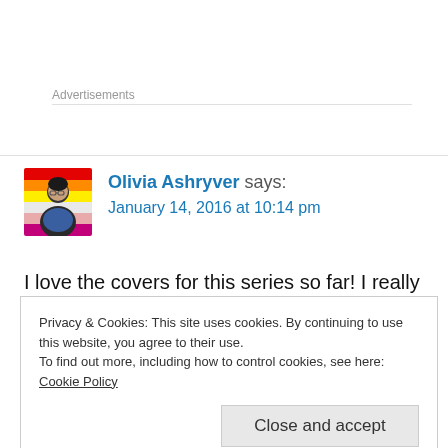Advertisements
Olivia Ashryver says:
January 14, 2016 at 10:14 pm
I love the covers for this series so far! I really need to read ACOTAR before this comes out. 😀
Privacy & Cookies: This site uses cookies. By continuing to use this website, you agree to their use.
To find out more, including how to control cookies, see here: Cookie Policy
Close and accept